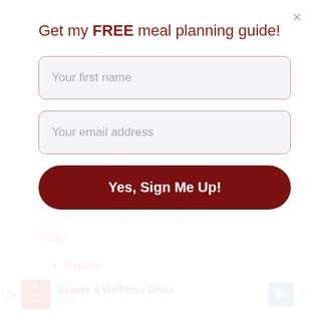Get my FREE meal planning guide!
Your first name
Your email address
Yes, Sign Me Up!
...more spinach, zucchini and mushrooms
Reply
▼ Replies
Life Tastes Good
March 22, 2014 at 11:09 AM
Sara that sounds divine!! I've never had zucchini
[Figure (screenshot): CVS Beauty & Wellness Deals advertisement banner at bottom of page]
Beauty & Wellness Deals CVS